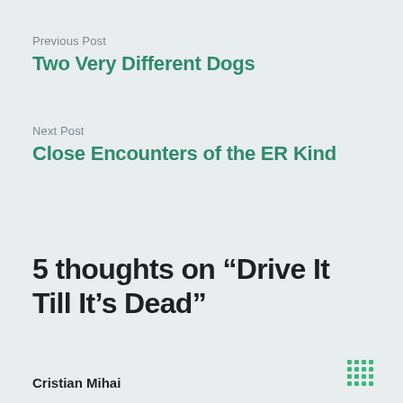Previous Post
Two Very Different Dogs
Next Post
Close Encounters of the ER Kind
5 thoughts on “Drive It Till It’s Dead”
Cristian Mihai